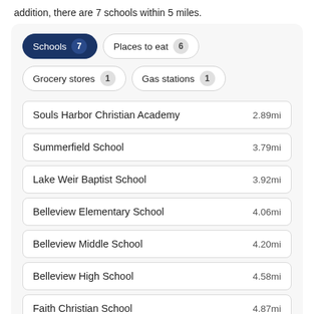addition, there are 7 schools within 5 miles.
Schools 7
Places to eat 6
Grocery stores 1
Gas stations 1
Souls Harbor Christian Academy  2.89mi
Summerfield School  3.79mi
Lake Weir Baptist School  3.92mi
Belleview Elementary School  4.06mi
Belleview Middle School  4.20mi
Belleview High School  4.58mi
Faith Christian School  4.87mi